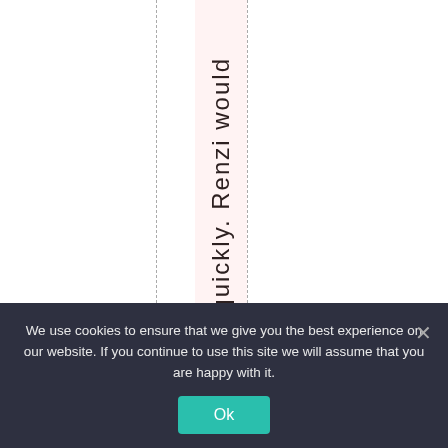quickly. Renzi would
We use cookies to ensure that we give you the best experience on our website. If you continue to use this site we will assume that you are happy with it.